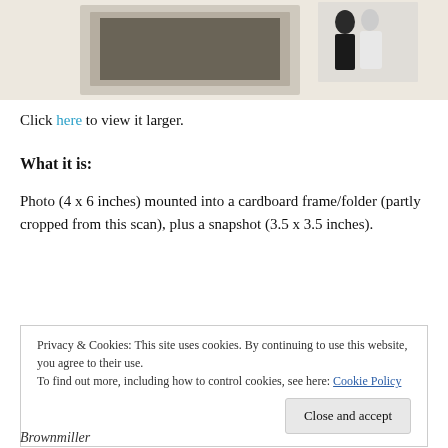[Figure (photo): Photograph showing a framed photo (4x6 inches) mounted in a cardboard frame/folder and a snapshot (3.5x3.5 inches) of a couple in formal wear]
Click here to view it larger.
What it is:
Photo (4 x 6 inches) mounted into a cardboard frame/folder (partly cropped from this scan), plus a snapshot (3.5 x 3.5 inches).
Privacy & Cookies: This site uses cookies. By continuing to use this website, you agree to their use.
To find out more, including how to control cookies, see here: Cookie Policy
Close and accept
Brownmiller